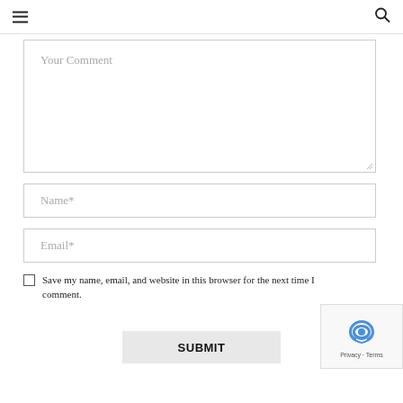Navigation header with hamburger menu and search icon
Your Comment
Name*
Email*
Save my name, email, and website in this browser for the next time I comment.
SUBMIT